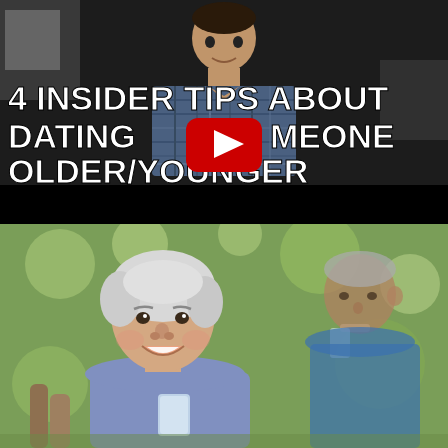[Figure (screenshot): YouTube video thumbnail showing a man in a plaid shirt with bold white text overlay reading '4 INSIDER TIPS ABOUT DATING SOMEONE OLDER/YOUNGER' and a YouTube play button in the center]
[Figure (photo): Photo of an elderly couple outdoors. An older woman with short white hair and a blue top smiles at the camera holding a glass of water. An older man in a blue shirt is visible in the background.]